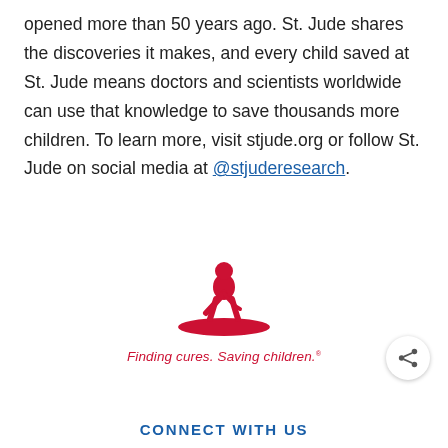opened more than 50 years ago. St. Jude shares the discoveries it makes, and every child saved at St. Jude means doctors and scientists worldwide can use that knowledge to save thousands more children. To learn more, visit stjude.org or follow St. Jude on social media at @stjuderesearch.
[Figure (logo): St. Jude Children's Research Hospital logo — silhouette of a child kneeling on a red arc, with the tagline 'Finding cures. Saving children.®']
CONNECT WITH US